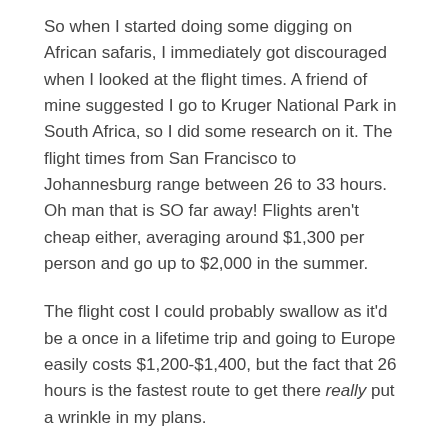So when I started doing some digging on African safaris, I immediately got discouraged when I looked at the flight times. A friend of mine suggested I go to Kruger National Park in South Africa, so I did some research on it. The flight times from San Francisco to Johannesburg range between 26 to 33 hours. Oh man that is SO far away! Flights aren't cheap either, averaging around $1,300 per person and go up to $2,000 in the summer.
The flight cost I could probably swallow as it'd be a once in a lifetime trip and going to Europe easily costs $1,200-$1,400, but the fact that 26 hours is the fastest route to get there really put a wrinkle in my plans.
Searching For A Cheap Safari Is Tricky